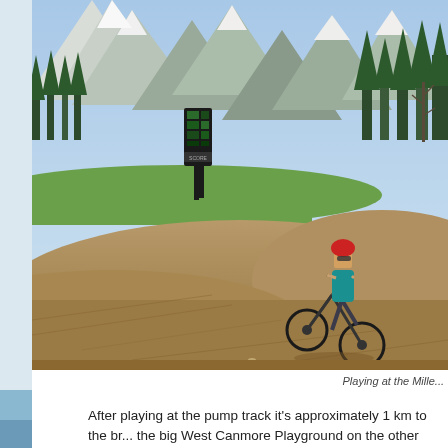[Figure (photo): A child on a mountain bike riding along a dirt pump track with hills/berms, set against a backdrop of snow-capped mountains, pine trees, and a golf course scoreboard sign. The rider is wearing a teal shirt, dark pants, and a red helmet with sunglasses.]
Playing at the Mille...
After playing at the pump track it's approximately 1 km to the br... the big West Canmore Playground on the other side of the ri...